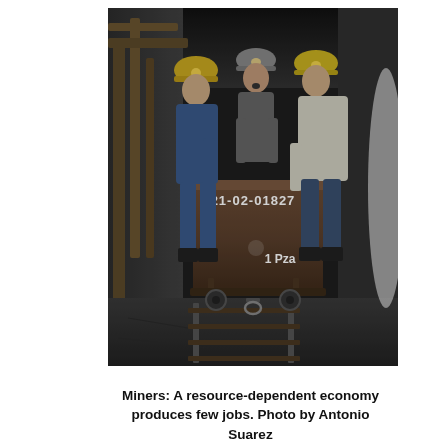[Figure (photo): Black and white photograph of three miners wearing hard hats with headlamps inside a mine tunnel, pushing a large ore cart. The cart has the number '21-02-01827' painted on it and '1 Pza' on its side. Wooden support timbers line the walls of the mine. Rail tracks are visible on the ground.]
Miners: A resource-dependent economy produces few jobs. Photo by Antonio Suarez